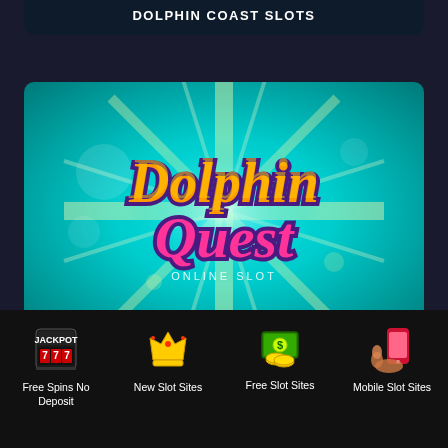DOLPHIN COAST SLOTS
[Figure (screenshot): Dolphin Quest Online Slot game logo on teal starburst background]
DOLPHIN QUEST SLOT
[Figure (other): Partial view of next card with pink/magenta border]
Free Spins No Deposit
New Slot Sites
Free Slot Sites
Mobile Slot Sites